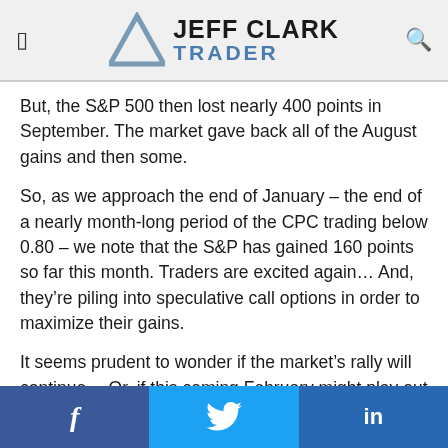Jeff Clark Trader
But, the S&P 500 then lost nearly 400 points in September. The market gave back all of the August gains and then some.
So, as we approach the end of January – the end of a nearly month-long period of the CPC trading below 0.80 – we note that the S&P has gained 160 points so far this month. Traders are excited again… And, they're piling into speculative call options in order to maximize their gains.
It seems prudent to wonder if the market's rally will continue… Or, if this coming February might play out like last September.
Best regards and good trading,
f  Twitter  in